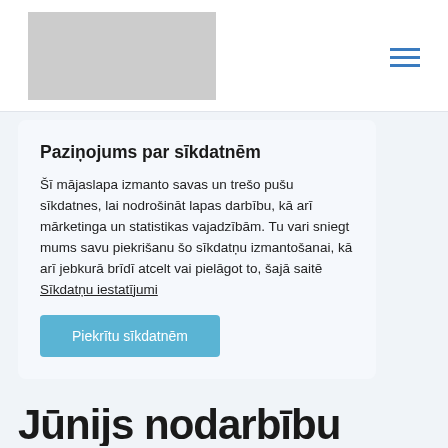[Figure (logo): Gray placeholder logo rectangle in page header]
Paziņojums par sīkdatnēm
Šī mājaslapa izmanto savas un trešo pušu sīkdatnes, lai nodrošināt lapas darbību, kā arī mārketinga un statistikas vajadzībām. Tu vari sniegt mums savu piekrišanu šo sīkdatņu izmantošanai, kā arī jebkurā brīdī atcelt vai pielāgot to, šajā saitē Sīkdatņu iestatījumi
Piekrītu sīkdatnēm
Jūnijs nodarbību